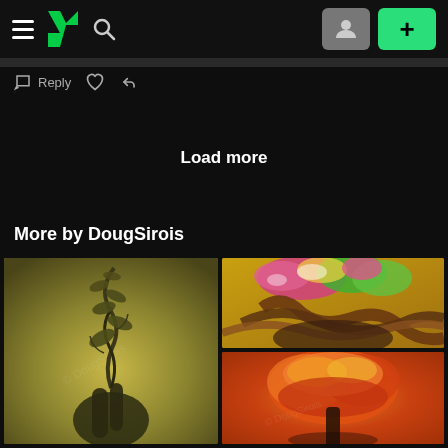DeviantArt navigation bar with hamburger menu, DA logo, search, avatar, and + button
Reply
Load more
More by DougSirois
[Figure (illustration): Digital illustration of dark hands holding a twisting plant/vine with leaves growing upward, on an olive-green textured background. DeviantArt watermark visible.]
[Figure (illustration): Digital illustration of a figure with flowing brown hair topped with colorful flowers and foliage (pink, green, yellow), on a golden background. DeviantArt watermark visible.]
[Figure (illustration): Digital illustration of an autumn tree with orange, red and yellow foliage on a warm reddish-orange background. DeviantArt watermark visible.]